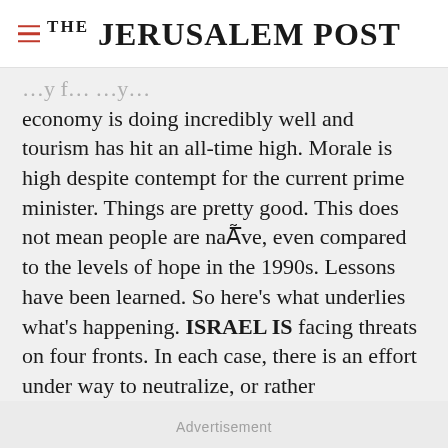THE JERUSALEM POST
economy is doing incredibly well and tourism has hit an all-time high. Morale is high despite contempt for the current prime minister. Things are pretty good. This does not mean people are naÃ¯ve, even compared to the levels of hope in the 1990s. Lessons have been learned. So here's what underlies what's happening. ISRAEL IS facing threats on four fronts. In each case, there is an effort under way to neutralize, or rather
Advertisement